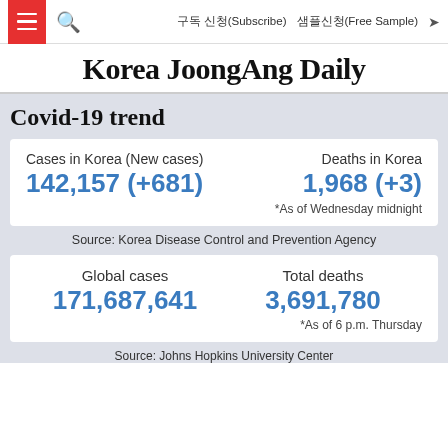구독 신청(Subscribe)   샘플신청(Free Sample)
Korea JoongAng Daily
Covid-19 trend
| Cases in Korea (New cases) | Deaths in Korea |
| --- | --- |
| 142,157 (+681) | 1,968 (+3) |
| *As of Wednesday midnight |  |
Source: Korea Disease Control and Prevention Agency
| Global cases | Total deaths |
| --- | --- |
| 171,687,641 | 3,691,780 |
| *As of 6 p.m. Thursday |  |
Source: Johns Hopkins University Center